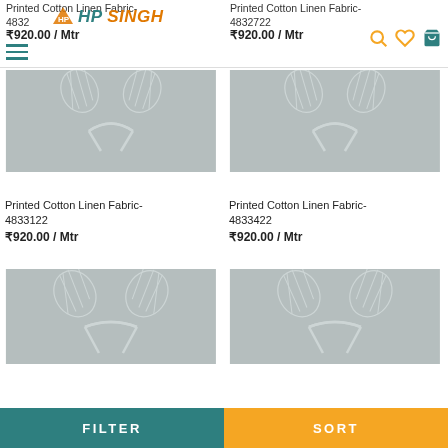HP SINGH
Printed Cotton Linen Fabric-4832722
₹920.00 / Mtr
[Figure (photo): Product image placeholder for Printed Cotton Linen Fabric-4833122 showing ginkgo leaf logo on grey background]
[Figure (photo): Product image placeholder for Printed Cotton Linen Fabric-4833422 showing ginkgo leaf logo on grey background]
Printed Cotton Linen Fabric-4833122
₹920.00 / Mtr
Printed Cotton Linen Fabric-4833422
₹920.00 / Mtr
[Figure (photo): Product image placeholder showing ginkgo leaf logo on grey background (bottom left)]
[Figure (photo): Product image placeholder showing ginkgo leaf logo on grey background (bottom right)]
FILTER
SORT